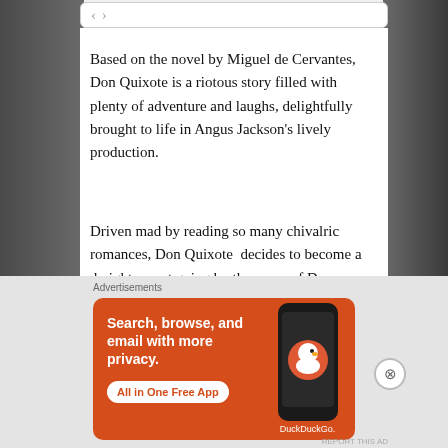[Figure (screenshot): Browser navigation bar with back/forward arrows at top of content panel]
Based on the novel by Miguel de Cervantes, Don Quixote is a riotous story filled with plenty of adventure and laughs, delightfully brought to life in Angus Jackson's lively production.
Driven mad by reading so many chivalric romances, Don Quixote  decides to become a  knight-errant going by the name of Don Quixote de la Mancha. Along with his squire Sancho Panzo, the pair set off on a quest to restore chivalry into Spain – getting into a wide variety of scrapes
Advertisements
[Figure (screenshot): DuckDuckGo advertisement banner: 'Search, browse, and email with more privacy. All in One Free App' with phone graphic and DuckDuckGo logo on orange background]